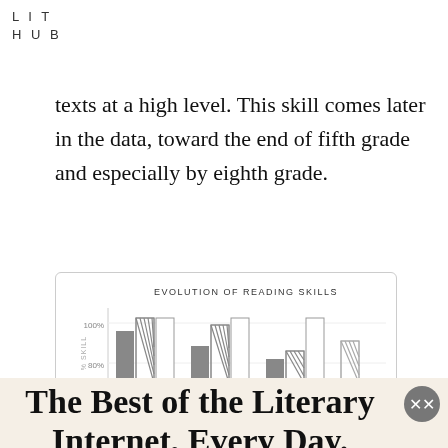LIT HUB
texts at a high level. This skill comes later in the data, toward the end of fifth grade and especially by eighth grade.
[Figure (bar-chart): Grouped bar chart showing evolution of reading skills across grade levels, with bars around 80–100% range. Bars shown in solid gray, hatched, and white patterns.]
The Best of the Literary Internet, Every Day.
Top literature stories from over 200 sources.